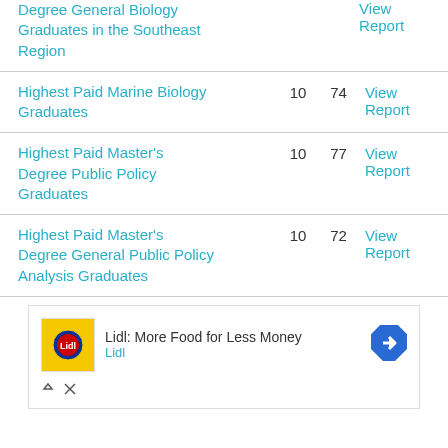| Report Name | Col1 | Col2 | Action |
| --- | --- | --- | --- |
| Degree General Biology Graduates in the Southeast Region |  |  | View Report |
| Highest Paid Marine Biology Graduates | 10 | 74 | View Report |
| Highest Paid Master's Degree Public Policy Graduates | 10 | 77 | View Report |
| Highest Paid Master's Degree General Public Policy Analysis Graduates | 10 | 72 | View Report |
[Figure (other): Advertisement banner: Lidl - More Food for Less Money, with Lidl logo and navigation arrow icon]